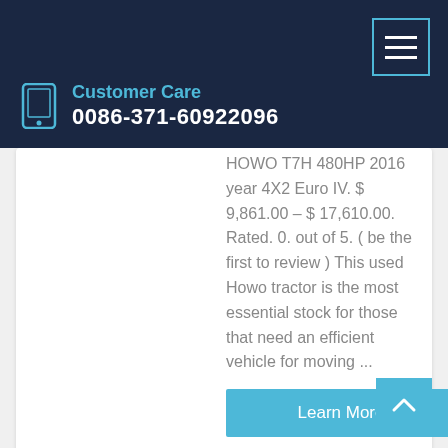Customer Care
0086-371-60922096
HOWO T7H 480HP 2016 year 4X2 Euro IV. $ 9,861.00 – $ 17,610.00. Rated. 0. out of 5. ( be the first to review ) This used Howo tractor is the most essential stock for those that need an efficient vehicle for moving ...
Learn More
[Figure (photo): Close-up photo of machinery/truck engine or mechanical components, dark tones]
China 4X2 HOWO Howe Date Drive